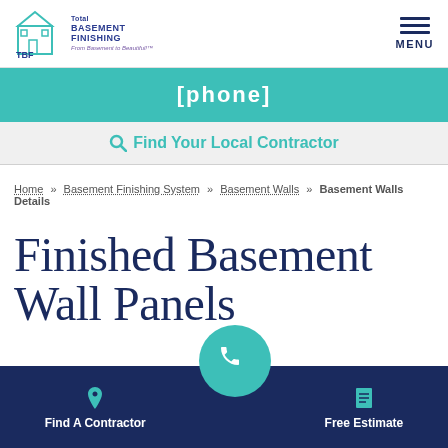[Figure (logo): Total Basement Finishing (TBF) logo with house icon and tagline 'From Basement to Beautiful']
MENU
[phone]
Find Your Local Contractor
Home » Basement Finishing System » Basement Walls » Basement Walls Details
Finished Basement Wall Panels
Find A Contractor
Free Estimate